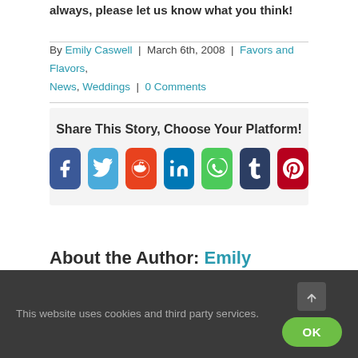always, please let us know what you think!
By Emily Caswell | March 6th, 2008 | Favors and Flavors, News, Weddings | 0 Comments
Share This Story, Choose Your Platform!
[Figure (infographic): Social share buttons: Facebook, Twitter, Reddit, LinkedIn, WhatsApp, Tumblr, Pinterest]
About the Author: Emily Caswell
This website uses cookies and third party services.